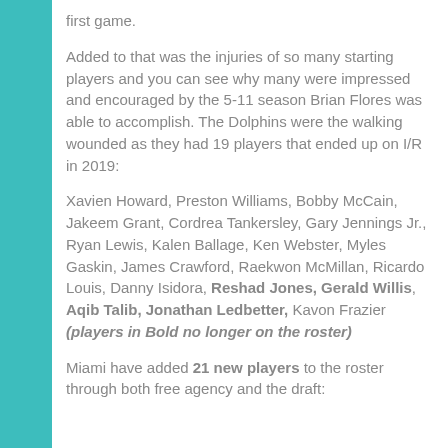first game.
Added to that was the injuries of so many starting players and you can see why many were impressed and encouraged by the 5-11 season Brian Flores was able to accomplish. The Dolphins were the walking wounded as they had 19 players that ended up on I/R in 2019:
Xavien Howard, Preston Williams, Bobby McCain, Jakeem Grant, Cordrea Tankersley, Gary Jennings Jr., Ryan Lewis, Kalen Ballage, Ken Webster, Myles Gaskin, James Crawford, Raekwon McMillan, Ricardo Louis, Danny Isidora, Reshad Jones, Gerald Willis, Aqib Talib, Jonathan Ledbetter, Kavon Frazier (players in Bold no longer on the roster)
Miami have added 21 new players to the roster through both free agency and the draft: